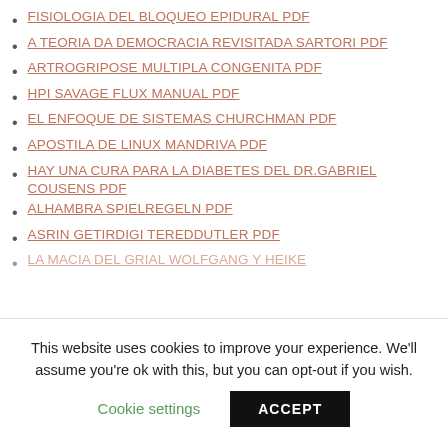FISIOLOGIA DEL BLOQUEO EPIDURAL PDF
A TEORIA DA DEMOCRACIA REVISITADA SARTORI PDF
ARTROGRIPOSE MULTIPLA CONGENITA PDF
HPI SAVAGE FLUX MANUAL PDF
EL ENFOQUE DE SISTEMAS CHURCHMAN PDF
APOSTILA DE LINUX MANDRIVA PDF
HAY UNA CURA PARA LA DIABETES DEL DR.GABRIEL COUSENS PDF
ALHAMBRA SPIELREGELN PDF
ASRIN GETIRDIGI TEREDDUTLER PDF
LA MACIA DEL GRIAL WOLFGANG Y HEIKE
This website uses cookies to improve your experience. We'll assume you're ok with this, but you can opt-out if you wish.
Cookie settings
ACCEPT